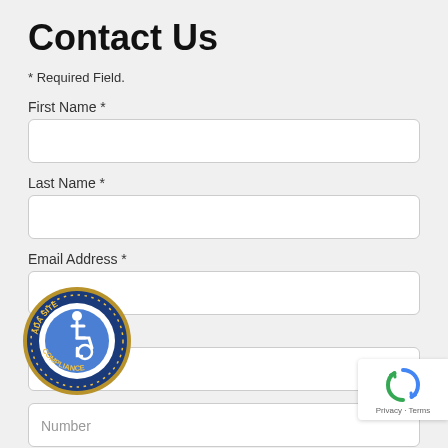Contact Us
* Required Field.
First Name *
Last Name *
Email Address *
Home Phone *
Number
[Figure (logo): ADA Site Compliance badge — circular blue and gold seal with wheelchair accessibility icon and text 'ADA SITE COMPLIANCE']
[Figure (logo): reCAPTCHA widget showing spinning arrows logo with 'Privacy - Terms' text below]